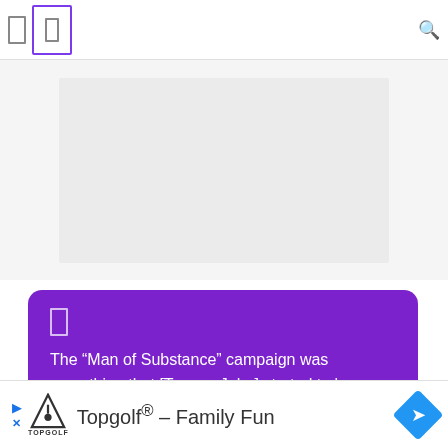Navigation bar with icons
[Figure (photo): Gray placeholder image area]
The “Man of Substance” campaign was something that [Tommy John] started to honor men with integrity, who exemplify being a role model.
[Figure (other): Topgolf advertisement banner - Topgolf® - Family Fun]